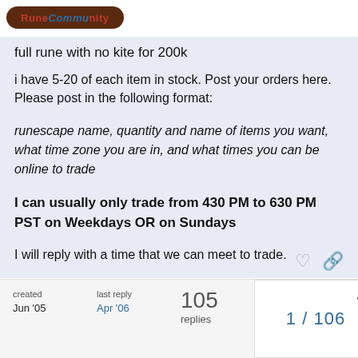[Figure (logo): RuneScape community forum logo badge in dark brown/red rounded pill shape]
full rune with no kite for 200k
i have 5-20 of each item in stock. Post your orders here. Please post in the following format:
runescape name, quantity and name of items you want, what time zone you are in, and what times you can be online to trade
I can usually only trade from 430 PM to 630 PM PST on Weekdays OR on Sundays
I will reply with a time that we can meet to trade.
created Jun '05   last reply Apr '06   105 replies   1 / 106